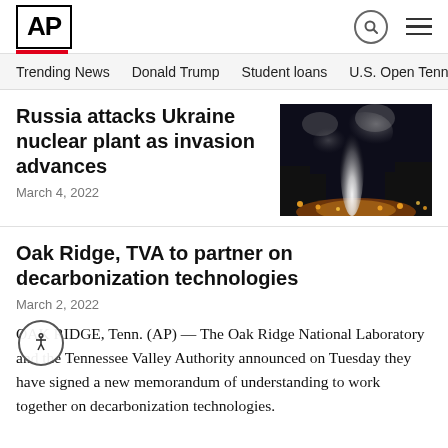AP
Trending News   Donald Trump   Student loans   U.S. Open Tenn
Russia attacks Ukraine nuclear plant as invasion advances
March 4, 2022
[Figure (photo): Night photo of fire and smoke rising from a nuclear plant with lights visible in the foreground]
Oak Ridge, TVA to partner on decarbonization technologies
March 2, 2022
OAK RIDGE, Tenn. (AP) — The Oak Ridge National Laboratory and the Tennessee Valley Authority announced on Tuesday they have signed a new memorandum of understanding to work together on decarbonization technologies.